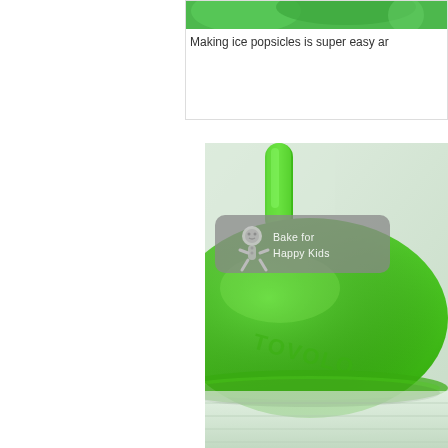[Figure (photo): Top partial photo showing green popsicle mold top edge against white background]
Making ice popsicles is super easy ar
[Figure (photo): Close-up photo of a bright green Tovolo popsicle mold/lid sitting on a clear plastic container. A gray rounded rectangle watermark overlay reads 'Bake for Happy Kids' with a gingerbread man icon.]